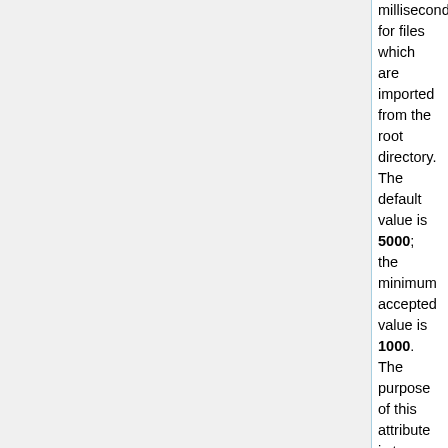milliseconds) for files which are imported from the root directory. The default value is 5000; the minimum accepted value is 1000. The purpose of this attribute is to ensure that files are completely stored in the root directory before being imported.
fsName is the name of the FileSystem to be used by a FileStorageService that receives this object.
fsNameTag is the name of a DICOM element, specified in hex with no comma separating the group and element numbers, in which to store the value of the fsName attribute.
acceptDicomObjects determines whether DicomObjects are to be accepted.
acceptXmlObjects determines